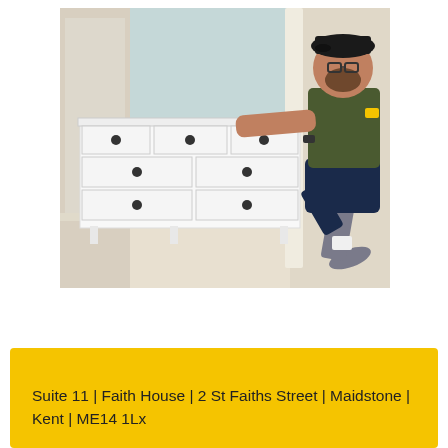[Figure (photo): A man wearing a dark olive t-shirt, black cap, and dark shorts is kneeling beside a large white IKEA-style chest of drawers with multiple drawers and round black knobs. The background shows a room with light blue-grey painted walls, white door frames, and beige carpet.]
Suite 11 | Faith House | 2 St Faiths Street | Maidstone | Kent | ME14 1Lx